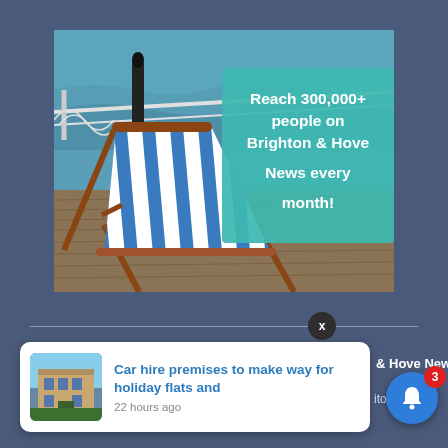[Figure (illustration): Advertisement image showing a blue and white striped deckchair on a pier boardwalk with sea in the background, overlaid with a teal box reading 'Reach 300,000+ people on Brighton & Hove News every month!']
Reach 300,000+ people on Brighton & Hove News every month!
[Figure (screenshot): Web push notification card showing a thumbnail photo of a building, title 'Car hire premises to make way for holiday flats and', timestamp '22 hours ago', with a blue bell icon with red badge showing 3, and partially visible text '& Hove News' and 'itonwp.co']